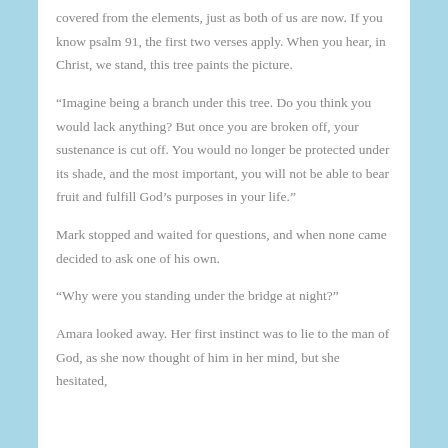covered from the elements, just as both of us are now. If you know psalm 91, the first two verses apply. When you hear, in Christ, we stand, this tree paints the picture.
“Imagine being a branch under this tree. Do you think you would lack anything? But once you are broken off, your sustenance is cut off. You would no longer be protected under its shade, and the most important, you will not be able to bear fruit and fulfill God’s purposes in your life.”
Mark stopped and waited for questions, and when none came decided to ask one of his own.
“Why were you standing under the bridge at night?”
Amara looked away. Her first instinct was to lie to the man of God, as she now thought of him in her mind, but she hesitated,